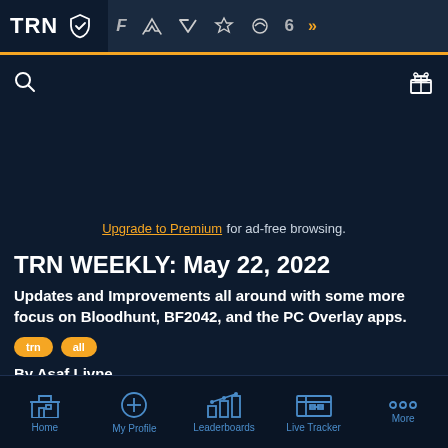TRN — navigation bar with game icons
Upgrade to Premium for ad-free browsing.
TRN WEEKLY: May 22, 2022
Updates and Improvements all around with some more focus on Bloodhunt, BF2042, and the PC Overlay apps.
trn  all
By Asaf Livne
Published May 22, 2022, 11:39 AM UTC
Home  My Profile  Leaderboards  Live Tracker  More